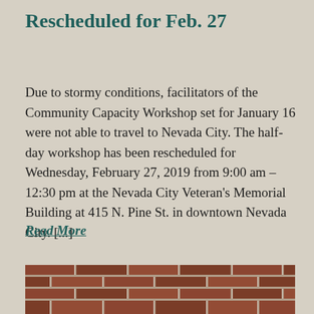Rescheduled for Feb. 27
Due to stormy conditions, facilitators of the Community Capacity Workshop set for January 16 were not able to travel to Nevada City. The half-day workshop has been rescheduled for Wednesday, February 27, 2019 from 9:00 am – 12:30 pm at the Nevada City Veteran's Memorial Building at 415 N. Pine St. in downtown Nevada City. [...]
Read More
[Figure (photo): Partial view of a brick wall, showing red and brown bricks with mortar joints at the bottom of the page.]